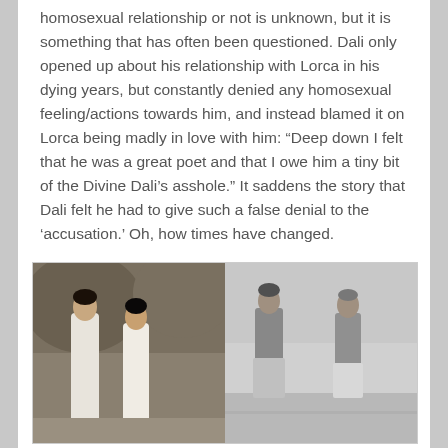homosexual relationship or not is unknown, but it is something that has often been questioned. Dali only opened up about his relationship with Lorca in his dying years, but constantly denied any homosexual feeling/actions towards him, and instead blamed it on Lorca being madly in love with him: “Deep down I felt that he was a great poet and that I owe him a tiny bit of the Divine Dali’s asshole.” It saddens the story that Dali felt he had to give such a false denial to the ‘accusation.’ Oh, how times have changed.
[Figure (photo): Split image: left side shows two young men in white clothing near a rocky background (appears to be from a film); right side shows a black-and-white vintage photograph of two men standing together.]